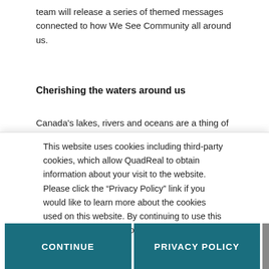team will release a series of themed messages connected to how We See Community all around us.
Cherishing the waters around us
Canada's lakes, rivers and oceans are a thing of
This website uses cookies including third-party cookies, which allow QuadReal to obtain information about your visit to the website. Please click the “Privacy Policy” link if you would like to learn more about the cookies used on this website. By continuing to use this website, you consent to the use of cookies.
CONTINUE
PRIVACY POLICY